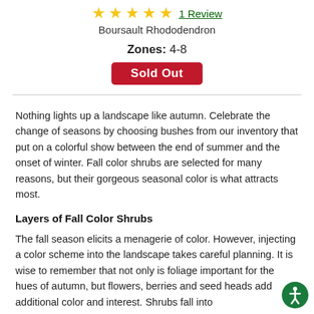[Figure (other): Five gold stars rating with '1 Review' link in green underlined text]
Boursault Rhododendron
Zones: 4-8
Sold Out
Nothing lights up a landscape like autumn. Celebrate the change of seasons by choosing bushes from our inventory that put on a colorful show between the end of summer and the onset of winter. Fall color shrubs are selected for many reasons, but their gorgeous seasonal color is what attracts most.
Layers of Fall Color Shrubs
The fall season elicits a menagerie of color. However, injecting a color scheme into the landscape takes careful planning. It is wise to remember that not only is foliage important for the hues of autumn, but flowers, berries and seed heads add additional color and interest. Shrubs fall into...